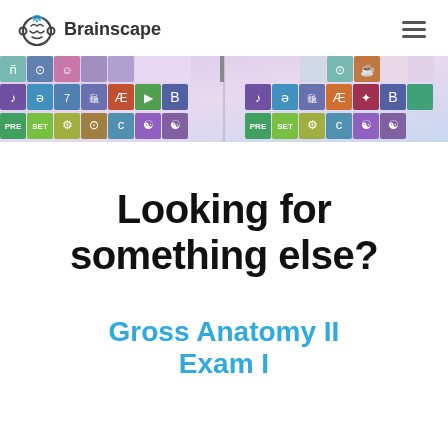Brainscape
[Figure (screenshot): A colorful screenshot of a keyboard or app interface with various linguistic/phonetic symbols on colored tiles including symbols like ñ, Æ, B, and others arranged in a grid pattern with purple/pink/teal colors]
Looking for something else?
Gross Anatomy II Exam I